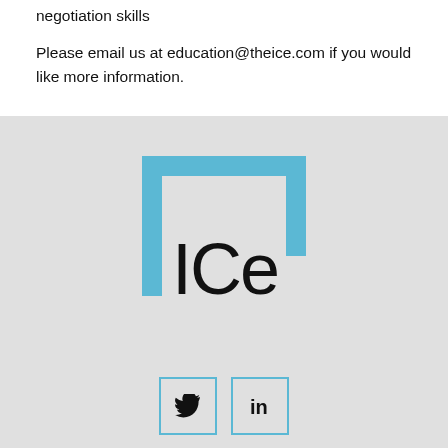negotiation skills
Please email us at education@theice.com if you would like more information.
[Figure (logo): ICE logo: a blue bracket/square outline (left, top, right sides only) with the word 'ICe' in black text inside, lower portion]
[Figure (infographic): Two social media icon boxes with light blue borders: Twitter bird icon and LinkedIn 'in' icon]